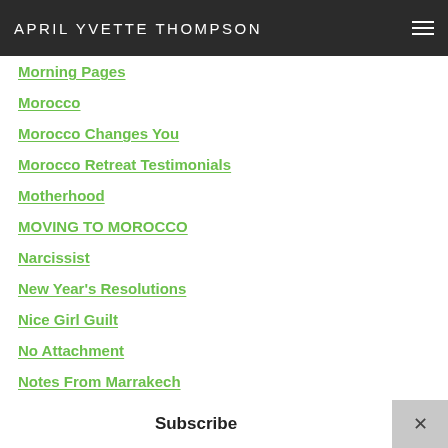APRIL YVETTE THOMPSON
Morning Pages
Morocco
Morocco Changes You
Morocco Retreat Testimonials
Motherhood
MOVING TO MOROCCO
Narcissist
New Year's Resolutions
Nice Girl Guilt
No Attachment
Notes From Marrakech
Online Business
OpenHandsOpenHeart
Orgasms
Own Your Story
Subscribe